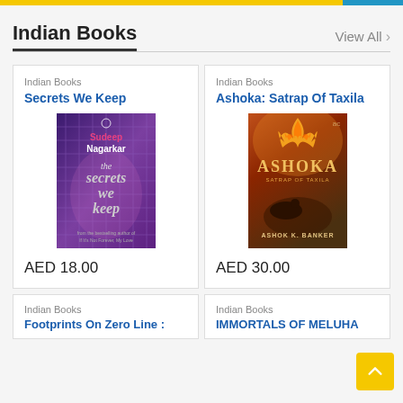Indian Books
View All >
Indian Books
Secrets We Keep
AED 18.00
Indian Books
Ashoka: Satrap Of Taxila
AED 30.00
Indian Books
Footprints On Zero Line :
Indian Books
IMMORTALS OF MELUHA